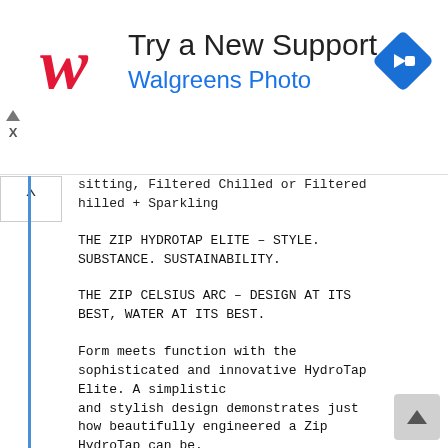[Figure (advertisement): Walgreens Photo ad banner with red cursive W logo, 'Try a New Support' heading, 'Walgreens Photo' subtitle in blue, and a blue diamond navigation icon on the right]
sitting, Filtered Chilled or Filtered Chilled + Sparkling
THE ZIP HYDROTAP ELITE – STYLE. SUBSTANCE. SUSTAINABILITY.
THE ZIP CELSIUS ARC – DESIGN AT ITS BEST, WATER AT ITS BEST.
Form meets function with the sophisticated and innovative HydroTap Elite. A simplistic and stylish design demonstrates just how beautifully engineered a Zip HydroTap can be.
The stunning Zip Celsius Arc adds an unparalleled level of sophistication